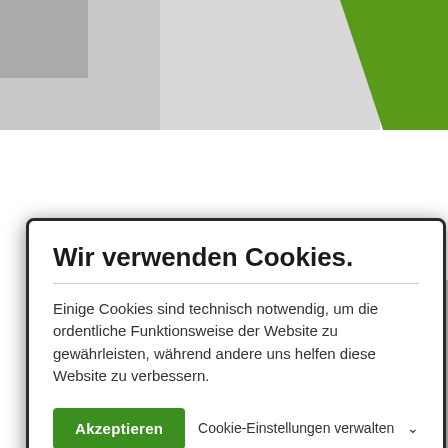[Figure (screenshot): Cookie consent modal dialog overlay on a website background featuring geometric color blocks in gray, green, purple, and white. The modal has a dark border, white background, bold title, descriptive text, a green accept button, and a cookie settings management link.]
Wir verwenden Cookies.
Einige Cookies sind technisch notwendig, um die ordentliche Funktionsweise der Website zu gewährleisten, während andere uns helfen diese Website zu verbessern.
Akzeptieren
Cookie-Einstellungen verwalten ∨